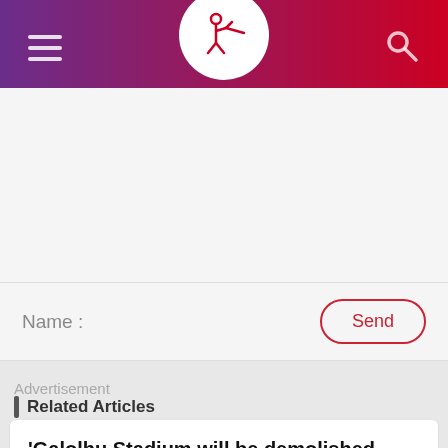News app header with hamburger menu, logo, and search icon
Name :
Send
Advertisement
Related Articles
'Galolhu Stadium will be demolished once Track done'